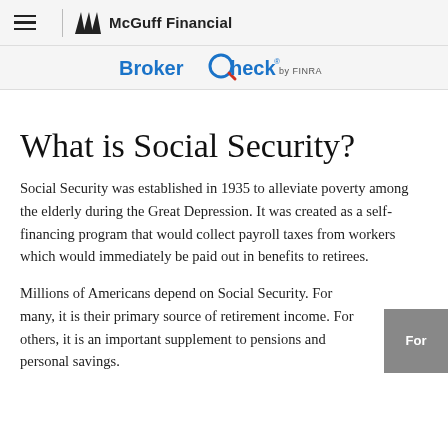McGuff Financial
[Figure (logo): BrokerCheck by FINRA logo with blue and red styling]
What is Social Security?
Social Security was established in 1935 to alleviate poverty among the elderly during the Great Depression. It was created as a self-financing program that would collect payroll taxes from workers which would immediately be paid out in benefits to retirees.
Millions of Americans depend on Social Security. For many, it is their primary source of retirement income. For others, it is an important supplement to pensions and personal savings.